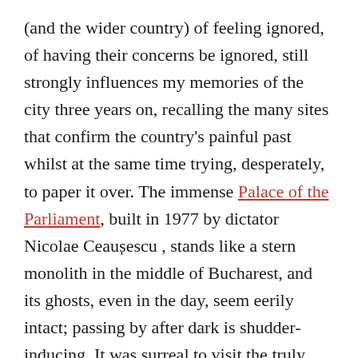(and the wider country) of feeling ignored, of having their concerns be ignored, still strongly influences my memories of the city three years on, recalling the many sites that confirm the country's painful past whilst at the same time trying, desperately, to paper it over. The immense Palace of the Parliament, built in 1977 by dictator Nicolae Ceaușescu , stands like a stern monolith in the middle of Bucharest, and its ghosts, even in the day, seem eerily intact; passing by after dark is shudder-inducing. It was surreal to visit the truly excellent National Museum of Contemporary Museum (MNAC), which is housed in one of the palace's wings; even with its modern renovations and inspiring collection of abstract works, the building renders the presence of its creator a little too present, with its